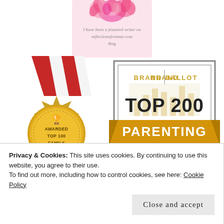[Figure (illustration): Pink floral badge with cursive text reading 'I have been a featured writer on reflectionsfromme.com #mg']
[Figure (illustration): Gold medal award badge with red and white ribbon, text: AWARDED TOP 100 FAMILY LIFESTYLE BLOG]
[Figure (illustration): Brand Ballot badge shield shape with text: BRAND | BALLOT, TOP 200, PARENTING BLOGS on gold/amber banner]
Privacy & Cookies: This site uses cookies. By continuing to use this website, you agree to their use.
To find out more, including how to control cookies, see here: Cookie Policy
Close and accept